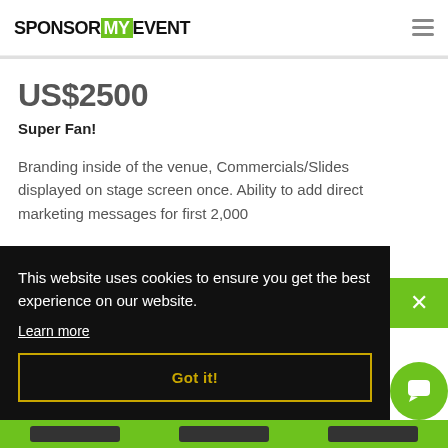SponsorMyEvent
US$2500
Super Fan!
Branding inside of the venue, Commercials/Slides displayed on stage screen once. Ability to add direct marketing messages for first 2,000...
This website uses cookies to ensure you get the best experience on our website.
Learn more
Got it!